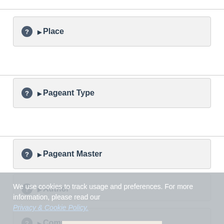▶ Place
▶ Pageant Type
▶ Pageant Master
▶ Author
▶ Composer
We use cookies to track usage and preferences. For more information, please read our Privacy & Cookie Policy.
ACCEPT